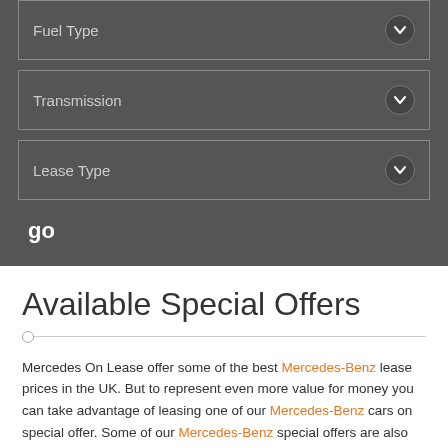Fuel Type
Transmission
Lease Type
go
Available Special Offers
Mercedes On Lease offer some of the best Mercedes-Benz lease prices in the UK. But to represent even more value for money you can take advantage of leasing one of our Mercedes-Benz cars on special offer. Some of our Mercedes-Benz special offers are also available from stock, meaning you can be behind the wheel of your new Mercedes-Benz a lot sooner than you may have thought. To take advantage of our Mercedes-Benz special offers, simply look through the available vehicles below and apply for your next Mercedes-Benz lease today.
CLA CLASS COUPE